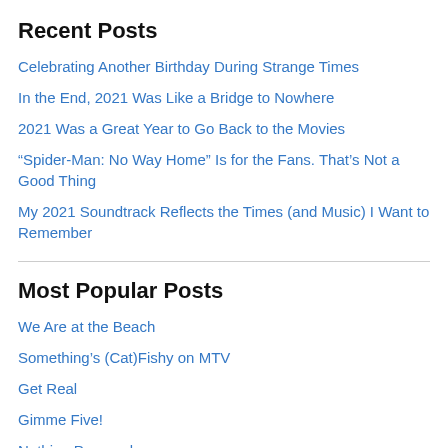Recent Posts
Celebrating Another Birthday During Strange Times
In the End, 2021 Was Like a Bridge to Nowhere
2021 Was a Great Year to Go Back to the Movies
“Spider-Man: No Way Home” Is for the Fans. That’s Not a Good Thing
My 2021 Soundtrack Reflects the Times (and Music) I Want to Remember
Most Popular Posts
We Are at the Beach
Something’s (Cat)Fishy on MTV
Get Real
Gimme Five!
Nothing Personal
I’m All Out of Love
Cowabunga!